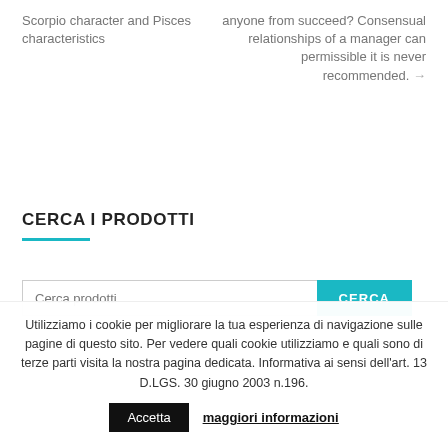Scorpio character and Pisces characteristics
anyone from succeed? Consensual relationships of a manager can permissible it is never recommended. →
CERCA I PRODOTTI
Cerca prodotti
CERCA
Utilizziamo i cookie per migliorare la tua esperienza di navigazione sulle pagine di questo sito. Per vedere quali cookie utilizziamo e quali sono di terze parti visita la nostra pagina dedicata. Informativa ai sensi dell'art. 13 D.LGS. 30 giugno 2003 n.196. Accetta maggiori informazioni